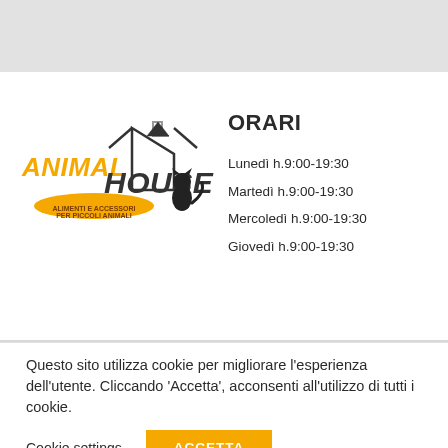[Figure (logo): Animal House logo — stylized orange lettering with a house shape and black cat/dog silhouette. Subtitle: 'Alimenti e accessori per piccoli animali']
ORARI
Lunedì h.9:00-19:30
Martedì h.9:00-19:30
Mercoledì h.9:00-19:30
Giovedì h.9:00-19:30
Questo sito utilizza cookie per migliorare l'esperienza dell'utente. Cliccando 'Accetta', acconsenti all'utilizzo di tutti i cookie.
Cookie settings
ACCETTA